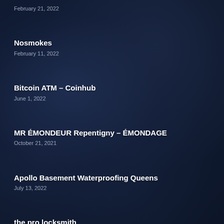February 21, 2022
Nosmokes
February 11, 2022
Bitcoin ATM – Coinhub
June 1, 2022
MR ÉMONDEUR Repentigny – ÉMONDAGE
October 21, 2021
Apollo Basement Waterproofing Queens
July 13, 2022
the pro locksmith
May 20, 2022